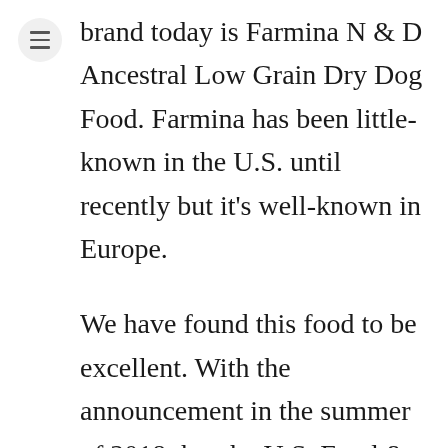brand today is Farmina N & D Ancestral Low Grain Dry Dog Food. Farmina has been little-known in the U.S. until recently but it's well-known in Europe.
We have found this food to be excellent. With the announcement in the summer of 2018 that the U.S. Food & Drug Administration was concerned about grain free dog foods and their possible link to dilated cardiomyopathy (DCM) in dogs, many